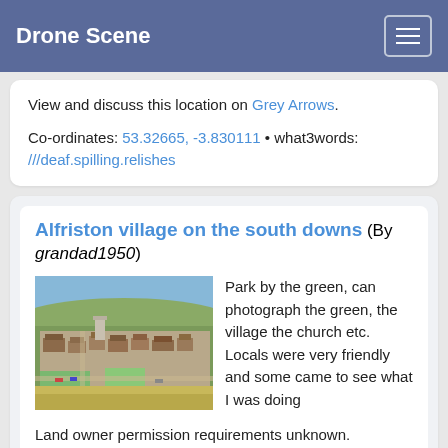Drone Scene
View and discuss this location on Grey Arrows.
Co-ordinates: 53.32665, -3.830111 • what3words: ///deaf.spilling.relishes
Alfriston village on the south downs (By grandad1950)
[Figure (photo): Aerial drone photo of Alfriston village showing rooftops, a church, green fields, and hillside in the background under a blue sky.]
Park by the green, can photograph the green, the village the church etc. Locals were very friendly and some came to see what I was doing
Land owner permission requirements unknown.
View and discuss this location on Grey Arrows.